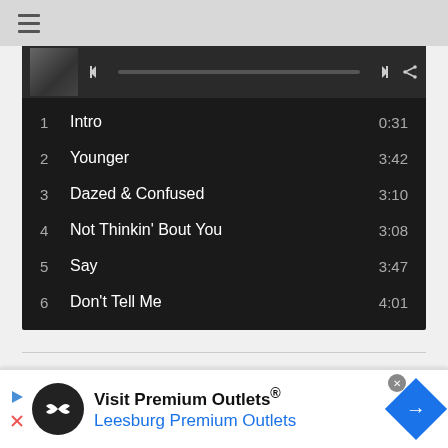≡
[Figure (screenshot): Music player interface showing album art thumbnail, playback controls, progress bar, skip and share buttons on dark background]
1  Intro  0:31
2  Younger  3:42
3  Dazed & Confused  3:10
4  Not Thinkin' Bout You  3:08
5  Say  3:47
6  Don't Tell Me  4:01
ixteen-year-old Ruel Vincent Van Dijk truly is
[Figure (screenshot): Advertisement banner: Visit Premium Outlets® Leesburg Premium Outlets with logo and navigation arrow icon]